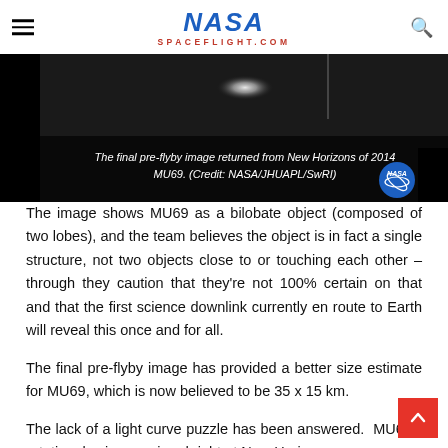NASA SPACEFLIGHT.COM
[Figure (photo): Dark image of 2014 MU69 (New Horizons pre-flyby image) showing a blurry bilobate object against a black background. Caption reads: The final pre-flyby image returned from New Horizons of 2014 MU69. (Credit: NASA/JHUAPL/SwRI)]
The image shows MU69 as a bilobate object (composed of two lobes), and the team believes the object is in fact a single structure, not two objects close to or touching each other – through they caution that they're not 100% certain on that and that the first science downlink currently en route to Earth will reveal this once and for all.
The final pre-flyby image has provided a better size estimate for MU69, which is now believed to be 35 x 15 km.
The lack of a light curve puzzle has been answered.  MU69's rotational axis was aimed right at New Horizons.